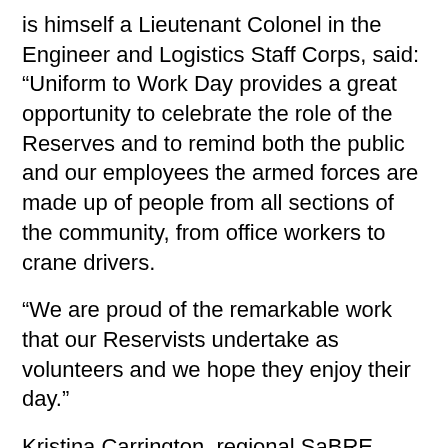is himself a Lieutenant Colonel in the Engineer and Logistics Staff Corps, said: “Uniform to Work Day provides a great opportunity to celebrate the role of the Reserves and to remind both the public and our employees the armed forces are made up of people from all sections of the community, from office workers to crane drivers.
“We are proud of the remarkable work that our Reservists undertake as volunteers and we hope they enjoy their day.”
Kristina Carrington, regional SaBRE campaign director, said: “The support, dedication and commitment the Port of Felixstowe gives to its employees who are members of the Reserve Forces is absolutely vital to the continuing participation of the Reserves in the UK’s defence capability.”
The UK has 38,000 Reservists, who have been deployed